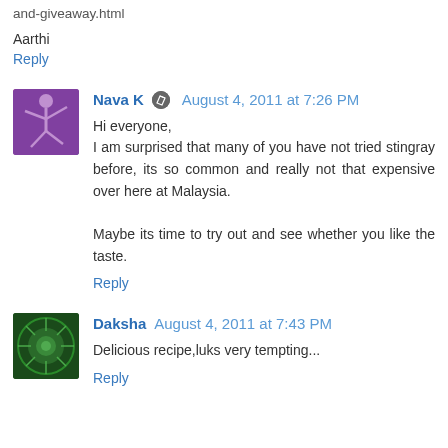and-giveaway.html
Aarthi
Reply
Nava K  August 4, 2011 at 7:26 PM
Hi everyone,
I am surprised that many of you have not tried stingray before, its so common and really not that expensive over here at Malaysia.

Maybe its time to try out and see whether you like the taste.
Reply
Daksha  August 4, 2011 at 7:43 PM
Delicious recipe,luks very tempting...
Reply